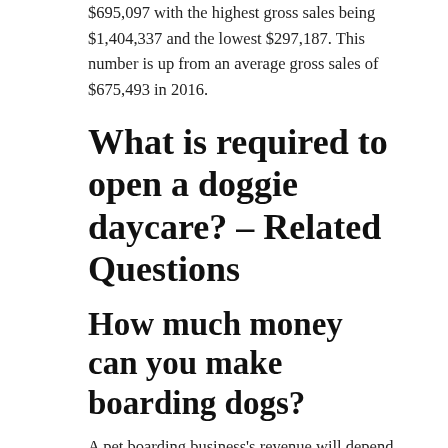$695,097 with the highest gross sales being $1,404,337 and the lowest $297,187. This number is up from an average gross sales of $675,493 in 2016.
What is required to open a doggie daycare? – Related Questions
How much money can you make boarding dogs?
A pet boarding business's revenue will depend on many factors, like the business's location, competition, services provided, and profit margins. According to PayScale, dog kennel owners make an average of $50,868 per year,